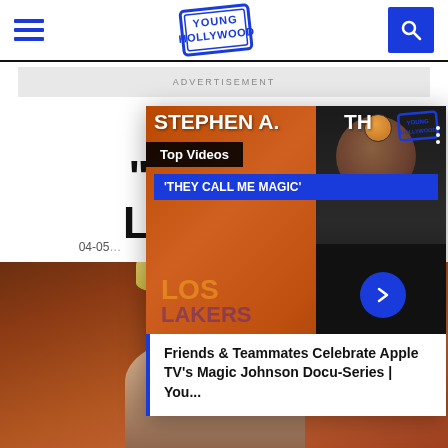Young Hollywood — navigation header with hamburger menu, Young Hollywood logo, and search button
ADVERTISEMENT
CHAT... "AWAK... LADY, L...
04-05-...
[Figure (screenshot): Young Hollywood video popup showing Stephen A. Smith 'They Call Me Magic' Top Videos panel with caption: Friends & Teammates Celebrate Apple TV's Magic Johnson Docu-Series | You...]
[Figure (photo): Blonde woman photographed against a brown/rust colored background, visible from shoulders up]